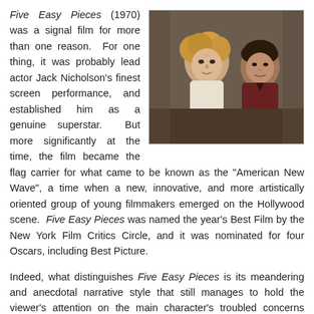Five Easy Pieces (1970) was a signal film for more than one reason. For one thing, it was probably lead actor Jack Nicholson's finest screen performance, and established him as a genuine superstar. But more significantly at the time, the film became the flag carrier for what came to be known as the "American New Wave", a time when a new, innovative, and more artistically oriented group of young filmmakers emerged on the Hollywood scene. Five Easy Pieces was named the year's Best Film by the New York Film Critics Circle, and it was nominated for four Oscars, including Best Picture.
[Figure (photo): A still from the film Five Easy Pieces (1970) showing a woman with curly blonde hair and a man with dark hair looking at her, appearing to be in a vehicle interior.]
Indeed, what distinguishes Five Easy Pieces is its meandering and anecdotal narrative style that still manages to hold the viewer's attention on the main character's troubled concerns about life [1,2]. This is because those